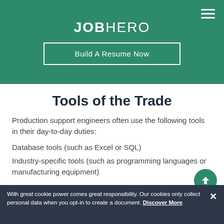JOBHERO
Build A Resume Now
Tools of the Trade
Production support engineers often use the following tools in their day-to-day duties:
Database tools (such as Excel or SQL)
Industry-specific tools (such as programming languages or manufacturing equipment)
With great cookie power comes great responsibility. Our cookies only collect personal data when you opt-in to create a document. Discover More